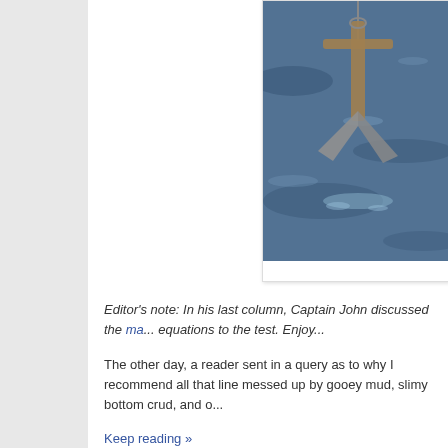[Figure (photo): A boat anchor being lifted from choppy blue-gray water, hanging from a rope or chain, with the metal flukes visible.]
Editor's note: In his last column, Captain John discussed the ma... equations to the test. Enjoy...
The other day, a reader sent in a query as to why I recommend all that line messed up by gooey mud, slimy bottom crud, and o...
Keep reading »